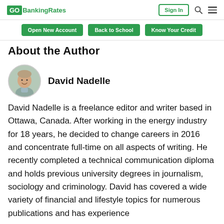GOBankingRates | Sign In | Search | Menu
About the Author
[Figure (photo): Circular headshot photo of David Nadelle, a man smiling, wearing a collared shirt]
David Nadelle
David Nadelle is a freelance editor and writer based in Ottawa, Canada. After working in the energy industry for 18 years, he decided to change careers in 2016 and concentrate full-time on all aspects of writing. He recently completed a technical communication diploma and holds previous university degrees in journalism, sociology and criminology. David has covered a wide variety of financial and lifestyle topics for numerous publications and has experience